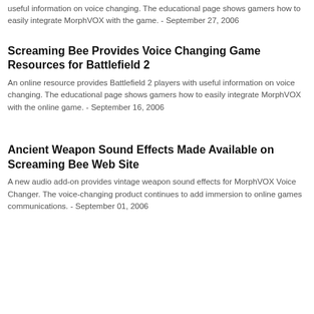useful information on voice changing. The educational page shows gamers how to easily integrate MorphVOX with the game. - September 27, 2006
Screaming Bee Provides Voice Changing Game Resources for Battlefield 2
An online resource provides Battlefield 2 players with useful information on voice changing. The educational page shows gamers how to easily integrate MorphVOX with the online game. - September 16, 2006
Ancient Weapon Sound Effects Made Available on Screaming Bee Web Site
A new audio add-on provides vintage weapon sound effects for MorphVOX Voice Changer. The voice-changing product continues to add immersion to online games communications. - September 01, 2006